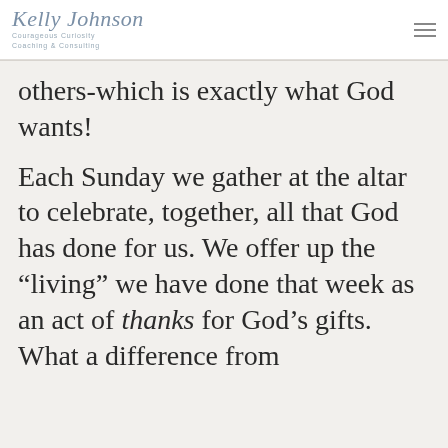Kelly Johnson Courageous Curiosity Coaching & Consulting
others-which is exactly what God wants!
Each Sunday we gather at the altar to celebrate, together, all that God has done for us. We offer up the “living” we have done that week as an act of thanks for God’s gifts. What a difference from